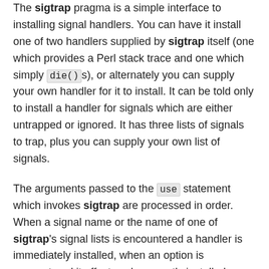The sigtrap pragma is a simple interface to installing signal handlers. You can have it install one of two handlers supplied by sigtrap itself (one which provides a Perl stack trace and one which simply die()s), or alternately you can supply your own handler for it to install. It can be told only to install a handler for signals which are either untrapped or ignored. It has three lists of signals to trap, plus you can supply your own list of signals.
The arguments passed to the use statement which invokes sigtrap are processed in order. When a signal name or the name of one of sigtrap's signal lists is encountered a handler is immediately installed, when an option is encountered it affects subsequently installed handlers.
OPTIONS
SIGNAL HANDLERS
These options affect which handler will be used for